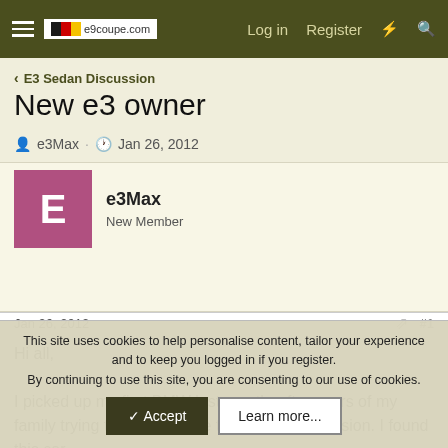e9coupe.com  Log in  Register
< E3 Sedan Discussion
New e3 owner
e3Max · Jan 26, 2012
e3Max
New Member
Jan 26, 2012  #1
Hi all,

I picked up my first BMW last month, after years of my family trying to convince me to join their obsession. I found this car
This site uses cookies to help personalise content, tailor your experience and to keep you logged in if you register.
By continuing to use this site, you are consenting to our use of cookies.
✓ Accept   Learn more...